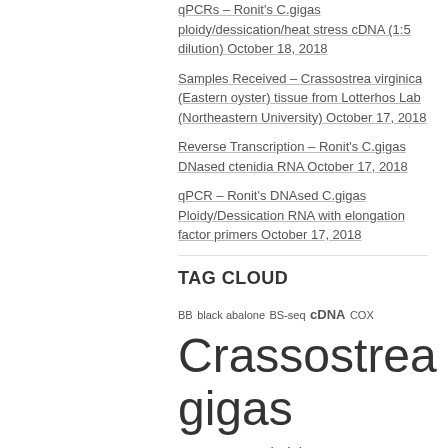qPCRs – Ronit's C.gigas ploidy/dessication/heat stress cDNA (1:5 dilution) October 18, 2018
Samples Received – Crassostrea virginica (Eastern oyster) tissue from Lotterhos Lab (Northeastern University) October 17, 2018
Reverse Transcription – Ronit's C.gigas DNased ctenidia RNA October 17, 2018
qPCR – Ronit's DNAsed C.gigas Ploidy/Dessication RNA with elongation factor primers October 17, 2018
TAG CLOUD
BB black abalone BS-seq cDNA COX Crassostrea gigas Crassostrea virginica cyclooxygenase DNA Isolation